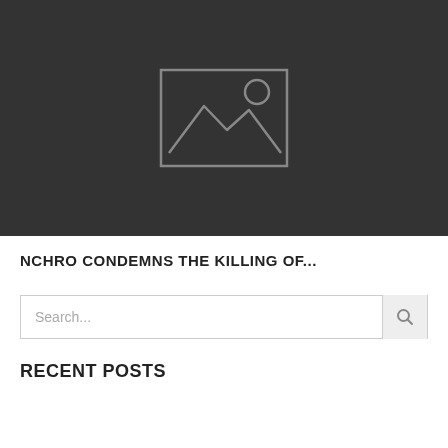[Figure (illustration): Dark gray placeholder image block with a gray image icon (rectangle with mountain/landscape silhouette and circle for sun) centered on a dark background]
NCHRO CONDEMNS THE KILLING OF...
Search...
RECENT POSTS